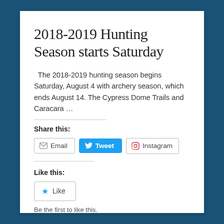2018-2019 Hunting Season starts Saturday
The 2018-2019 hunting season begins Saturday, August 4 with archery season, which ends August 14. The Cypress Dome Trails and Caracara …
Share this:
Like this:
Be the first to like this.